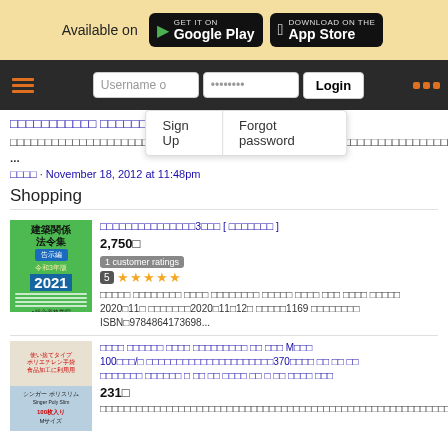Available on Google Play | Download on the App Store
Username o | Password | Login | Sign Up | Forgot password
□□□□□□□□□□□ □□□□□□□□
□□□□□□□□□□□□□□□□□□□□□□□□□□□□□□□□□□□□□□□□□□□□□□□□□□□□□□□□□□□□□□□□□□□□□□□□□□□□□□□□□□□□□□□□□□□□□□□□□□□□□□□□□□□□□□□□□□□□□□□□□□□□□□□□□□□□□□□□□□□□□□□□□□□□□□□□□□□□□□□□□□□□□□□□□□ □□□□□□□□...
□□□□ · November 18, 2012 at 11:48pm
Shopping
[Figure (photo): Green book cover: 建築関係法令集 告示編 令和3年版 2021]
□□□□□□□□□□□□□□□3□□□ [ □□□□□□□ ]
2,750□
1 customer ratings
5 ★★★★★
□□□□□ □□□□□□□□ □□□□ □□□□□□□□ □□□□□ □□□□ □□□ □□□□ □□□□□
2020□11□ □□□□□□□2020□11□12□ □□□□□1169 □□□□□□□□
ISBN□9784864173698...
[Figure (photo): Product image: disposable polyethylene gloves, Singer Poly Slim, 100 count, M size]
□□□□ □□□□□□ □□□□ □□□□□□□□□ □□ □□□ M□□□
100□□□/□ □□□□□□□□□□□□□□□□□□□□□370□□□□ □□ □□ □□
□□□□□□□ □□□□□□ □ □□ □□ □□□□ □□ □ □□ □□□□ □□□
231□
□□□□□□□□□□□□□□□□□□□□□□□□□□□□□□□ □□□□□□□□□□□□□□□□□□□□□□□□□□□□□□□□□□□□□□□□□□□□□(□□)□□□□□□□□□□□□□□□□□